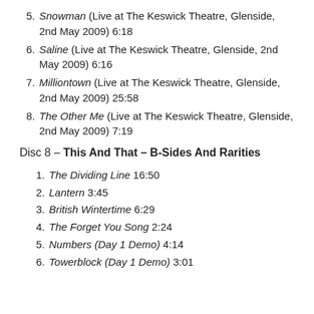5. Snowman (Live at The Keswick Theatre, Glenside, 2nd May 2009) 6:18
6. Saline (Live at The Keswick Theatre, Glenside, 2nd May 2009) 6:16
7. Milliontown (Live at The Keswick Theatre, Glenside, 2nd May 2009) 25:58
8. The Other Me (Live at The Keswick Theatre, Glenside, 2nd May 2009) 7:19
Disc 8 – This And That – B-Sides And Rarities
1. The Dividing Line 16:50
2. Lantern 3:45
3. British Wintertime 6:29
4. The Forget You Song 2:24
5. Numbers (Day 1 Demo) 4:14
6. Towerblock (Day 1 Demo) 3:01